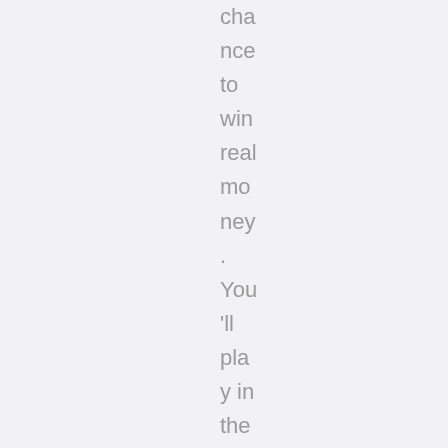cha nce to win real mo ney . You 'll pla y in the sa me ma nne r as